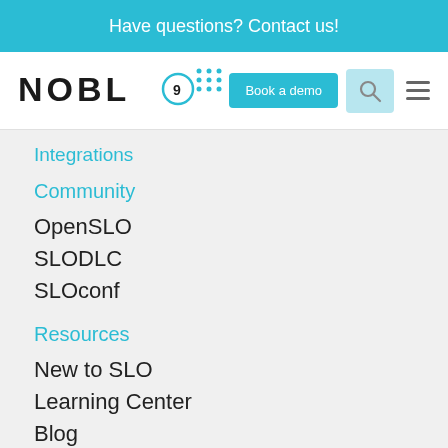Have questions? Contact us!
[Figure (logo): Nobl9 logo with dot grid pattern]
Book a demo
Integrations
Community
OpenSLO
SLODLC
SLOconf
Resources
New to SLO
Learning Center
Blog
Events
Podcasts
Documentation